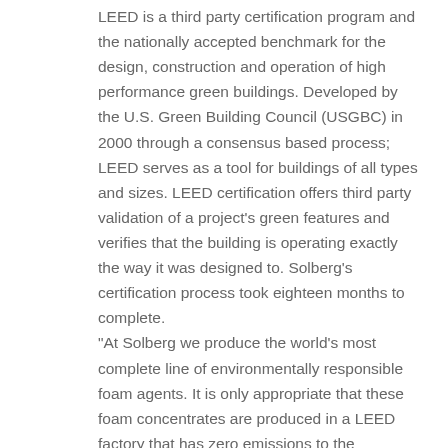LEED is a third party certification program and the nationally accepted benchmark for the design, construction and operation of high performance green buildings. Developed by the U.S. Green Building Council (USGBC) in 2000 through a consensus based process; LEED serves as a tool for buildings of all types and sizes. LEED certification offers third party validation of a project's green features and verifies that the building is operating exactly the way it was designed to. Solberg's certification process took eighteen months to complete. "At Solberg we produce the world's most complete line of environmentally responsible foam agents. It is only appropriate that these foam concentrates are produced in a LEED factory that has zero emissions to the environment. To do otherwise would be hypocritical," explained Solberg's General Manager, Steve Hansen. "LEED is a direct complement to our product strategy of developing and commercializing high-performance, environmentally sustainable firefighting foam concentrates like RE-HEALING™ Foam, the first multi-certified fluorosurfactant,